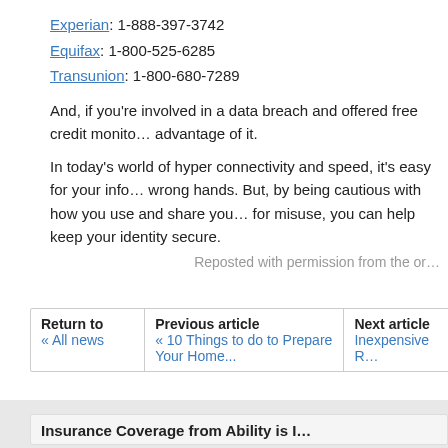Experian: 1-888-397-3742
Equifax: 1-800-525-6285
Transunion: 1-800-680-7289
And, if you’re involved in a data breach and offered free credit monitoring, take advantage of it.
In today’s world of hyper connectivity and speed, it’s easy for your information to fall into the wrong hands. But, by being cautious with how you use and share your information and monitoring for misuse, you can help keep your identity secure.
Reposted with permission from the or…
| Return to | Previous article | Next article |
| --- | --- | --- |
| « All news | « 10 Things to do to Prepare Your Home... | Inexpensive R... |
Insurance Coverage from Ability is I…